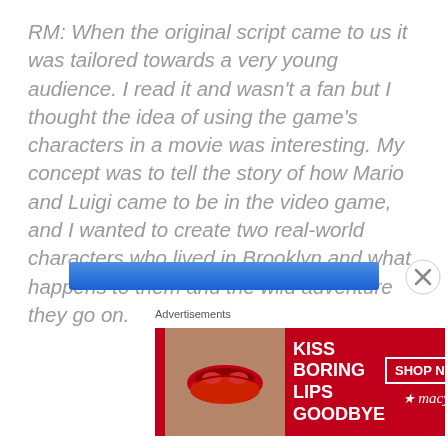RM: When the original script came to us it was tailored towards a very young audience. I read it and wasn't a fan but I thought the idea of using the game's characters in a movie was interesting. My concept was to tell the story of how Mario and Luigi came to be in the video game, and I wanted to create two real-world characters who lived in Brooklyn and what happens to them and the wild adventure they go on.
[Figure (other): Blue progress/loading bar element]
Advertisements
[Figure (screenshot): Macy's advertisement banner: 'KISS BORING LIPS GOODBYE' with SHOP NOW button and Macy's star logo on red background with model photo]